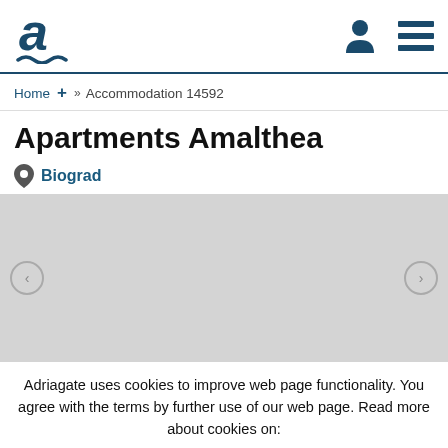Adriagate logo, user icon, menu icon
Home + » Accommodation 14592
Apartments Amalthea
Biograd
[Figure (photo): Gray placeholder image area for property photos]
Adriagate uses cookies to improve web page functionality. You agree with the terms by further use of our web page. Read more about cookies on:
Privacy Policy  Close